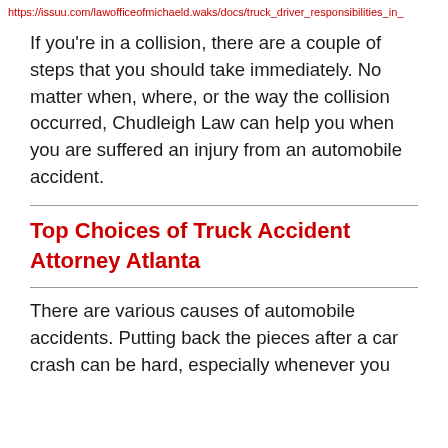https://issuu.com/lawofficeofmichaeld.waks/docs/truck_driver_responsibilities_in_
If you’re in a collision, there are a couple of steps that you should take immediately. No matter when, where, or the way the collision occurred, Chudleigh Law can help you when you are suffered an injury from an automobile accident.
Top Choices of Truck Accident Attorney Atlanta
There are various causes of automobile accidents. Putting back the pieces after a car crash can be hard, especially whenever you